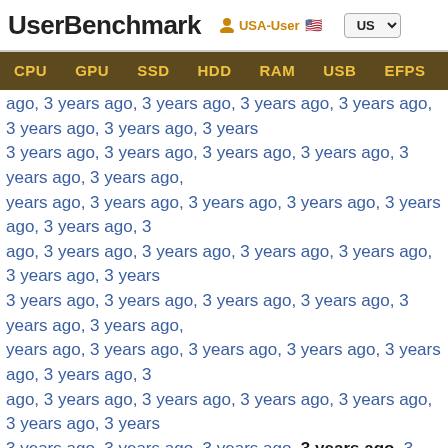UserBenchmark | USA-User | US
CPU | GPU | SSD | HDD | RAM | USB | EFPS | FPS | Sk
ago, 3 years ago, 3 years ago, 3 years ago, 3 years ago, 3 years ago, 3 years ago, 3 years ago, 3 years ago, 3 years ago, 3 years ago, 3 years ago, 3 years ago, 3 years ago, 3 years ago, 3 years ago, 3 years ago, 3 years ago, 3 years ago, 3 years ago, 3 years ago, 3 years ago, 3 years ago, 3 years ago, 3 years ago, 3 years ago, 3 years ago, 3 years ago, 3 years ago, 3 years ago, 3 years ago, 3 years ago, 3 years ago, 3 years ago, 3 years ago, 3 years ago, 3 years ago, 3 years ago, 3 years ago, 3 years ago, 3 years ago, 3 years ago, 3 years ago, 3 years ago, 3 years ago, 3 years ago, 3 years ago, 3 years ago, 3 years ago, 3 years ago, 3 years ago, 3 years ago, 3 years ago, 3 years ago, 3 years ago, 3 years ago, 3 years ago, 3 years ago, 3 years ago, 3 years ago, 3 years ago, 3 years ago, 3 years ago, 3 years ago, 3 years ago, 3 years ago, 3 years ago, 3 years ago, 3 years ago, 3 years ago, 3 years ago, 3 years ago, 3 years ago, 3 years ago, 3 years ago, 3 years ago, 3 years ago, 3 years ago, 3 years ago, 3 years ago, 3 years ago, 3 years ago, 3 years ago, 3 years ago, 3 years ago, 3 years ago, 3 years ago, 3 years ago, 3 years ago, 3 years ago, 3 years ago, 3 years ago, 3 years ago